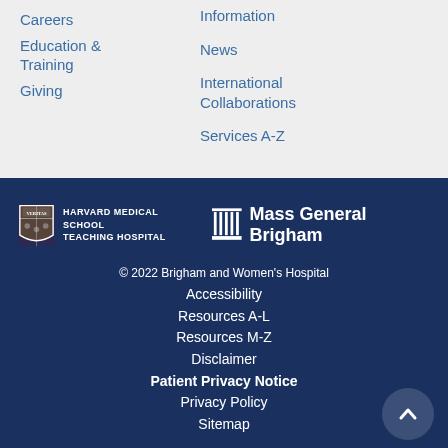Careers
Education & Training
Giving
Information
News
International Collaborations
Services A-Z
[Figure (logo): Harvard Medical School Teaching Hospital shield logo with text]
[Figure (logo): Mass General Brigham logo with building icon]
© 2022 Brigham and Women's Hospital
Accessibility
Resources A-L
Resources M-Z
Disclaimer
Patient Privacy Notice
Privacy Policy
Sitemap